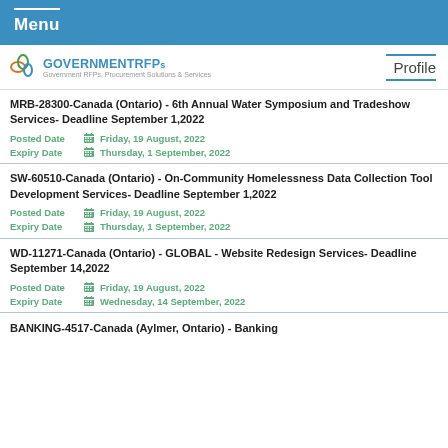Menu
[Figure (logo): GOVERNMENTRFPs logo with tagline: Government RFPs, Procurement Solutions & Services]
MRB-28300-Canada (Ontario) - 6th Annual Water Symposium and Tradeshow Services- Deadline September 1,2022
Posted Date: Friday, 19 August, 2022 | Expiry Date: Thursday, 1 September, 2022
SW-60510-Canada (Ontario) - On-Community Homelessness Data Collection Tool Development Services- Deadline September 1,2022
Posted Date: Friday, 19 August, 2022 | Expiry Date: Thursday, 1 September, 2022
WD-11271-Canada (Ontario) - GLOBAL - Website Redesign Services- Deadline September 14,2022
Posted Date: Friday, 19 August, 2022 | Expiry Date: Wednesday, 14 September, 2022
BANKING-4517-Canada (Aylmer, Ontario) - Banking